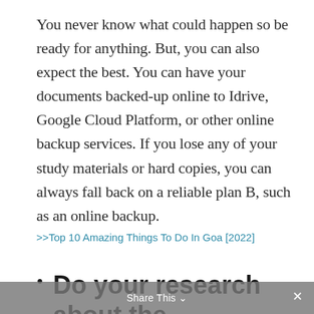You never know what could happen so be ready for anything. But, you can also expect the best. You can have your documents backed-up online to Idrive, Google Cloud Platform, or other online backup services. If you lose any of your study materials or hard copies, you can always fall back on a reliable plan B, such as an online backup.
>>Top 10 Amazing Things To Do In Goa [2022]
Do your research about the environment before you travel
Share This